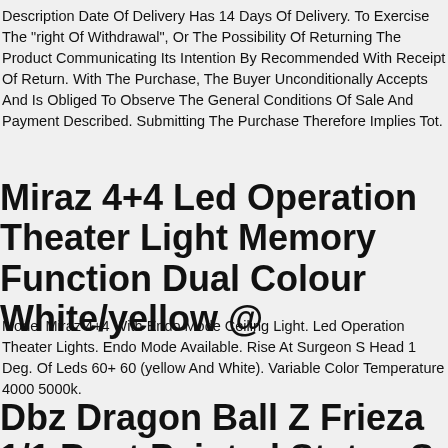Description Date Of Delivery Has 14 Days Of Delivery. To Exercise The "right Of Withdrawal", Or The Possibility Of Returning The Product Communicating Its Intention By Recommended With Receipt Of Return. With The Purchase, The Buyer Unconditionally Accepts And Is Obliged To Observe The General Conditions Of Sale And Payment Described. Submitting The Purchase Therefore Implies Tot.
Miraz 4+4 Led Operation Theater Light Memory Function Dual Colour White/yellow @
Model Miraz 4+4 With Endo Mode Ceiling Light. Led Operation Theater Lights. Endo Mode Available. Rise At Surgeon S Head 1 Deg. Of Leds 60+ 60 (yellow And White). Variable Color Temperature 4000 5000k.
Dbz Dragon Ball Z Frieza 1/1 Bust Painted Statue Sd Studio In Stock